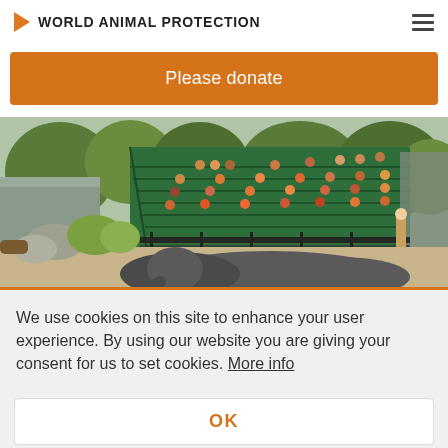WORLD ANIMAL PROTECTION
Please donate
[Figure (photo): Zoo audience on green bleacher stands watching an elephant lying on the ground in a sandy enclosure, with a zookeeper nearby, trees in background]
We use cookies on this site to enhance your user experience. By using our website you are giving your consent for us to set cookies. More info
OK